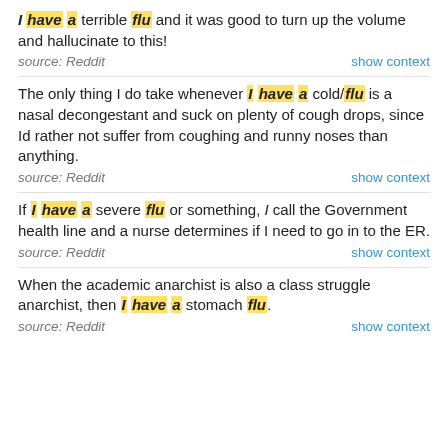I have a terrible flu and it was good to turn up the volume and hallucinate to this!
source: Reddit | show context
The only thing I do take whenever I have a cold/flu is a nasal decongestant and suck on plenty of cough drops, since Id rather not suffer from coughing and runny noses than anything.
source: Reddit | show context
If I have a severe flu or something, I call the Government health line and a nurse determines if I need to go in to the ER.
source: Reddit | show context
When the academic anarchist is also a class struggle anarchist, then I have a stomach flu.
source: Reddit | show context